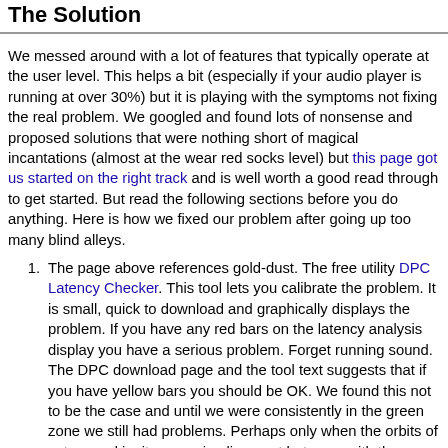The Solution
We messed around with a lot of features that typically operate at the user level. This helps a bit (especially if your audio player is running at over 30%) but it is playing with the symptoms not fixing the real problem. We googled and found lots of nonsense and proposed solutions that were nothing short of magical incantations (almost at the wear red socks level) but this page got us started on the right track and is well worth a good read through to get started. But read the following sections before you do anything. Here is how we fixed our problem after going up too many blind alleys.
The page above references gold-dust. The free utility DPC Latency Checker. This tool lets you calibrate the problem. It is small, quick to download and graphically displays the problem. If you have any red bars on the latency analysis display you have a serious problem. Forget running sound. The DPC download page and the tool text suggests that if you have yellow bars you should be OK. We found this not to be the case and until we were consistently in the green zone we still had problems. Perhaps only when the orbits of saturn and jupiter were in alignment but even with the occasional yellow bar (every 30 - 45 seconds in our case) we would